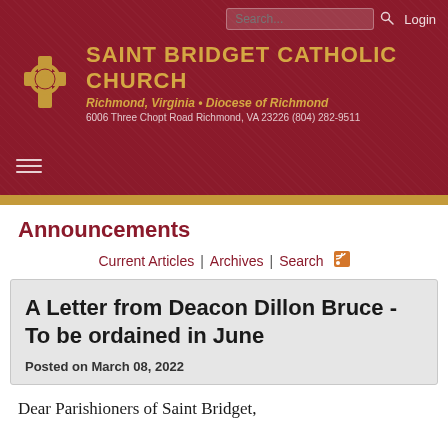Saint Bridget Catholic Church — Richmond, Virginia • Diocese of Richmond — 6006 Three Chopt Road Richmond, VA 23226  (804) 282-9511
Announcements
Current Articles | Archives | Search
A Letter from Deacon Dillon Bruce - To be ordained in June
Posted on March 08, 2022
Dear Parishioners of Saint Bridget,